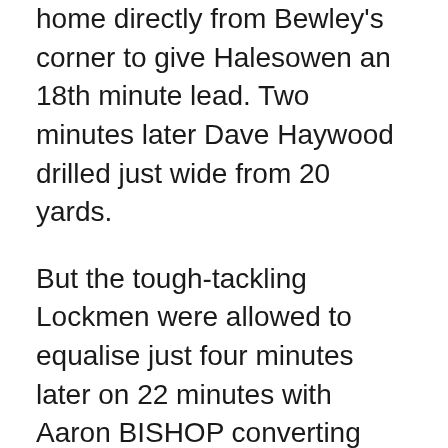home directly from Bewley's corner to give Halesowen an 18th minute lead. Two minutes later Dave Haywood drilled just wide from 20 yards.
But the tough-tackling Lockmen were allowed to equalise just four minutes later on 22 minutes with Aaron BISHOP converting another direct header at the far post from Dominic Reece's 25-yard right-wing free-kick.
Halesowen responded and continued to press with Lamey trying just too much in the penalty area on 25 minutes before Haywood's cross fell just wide. Another free header from Amos then almost caught out goalkeeper Danny Tipton in the 28th minute and a minute later Chris Smith was put through but his first touch was too strong, allowing Tipton to claim the ball. Unconvincing Tipton then gathered the ball